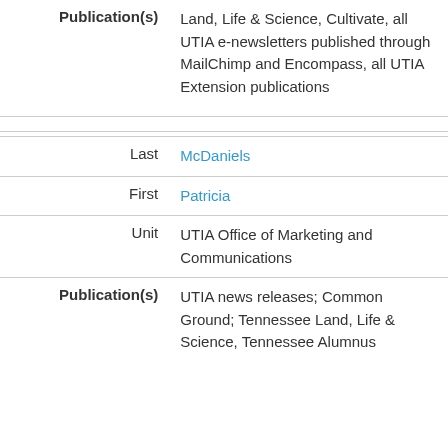| Publication(s) | Land, Life & Science, Cultivate, all UTIA e-newsletters published through MailChimp and Encompass, all UTIA Extension publications |
|  |  |
| Last | McDaniels |
| First | Patricia |
| Unit | UTIA Office of Marketing and Communications |
| Publication(s) | UTIA news releases; Common Ground; Tennessee Land, Life & Science, Tennessee Alumnus |